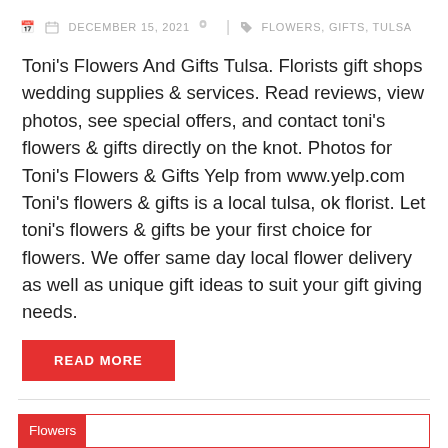DECEMBER 15, 2021  |  FLOWERS, GIFTS, TULSA
Toni's Flowers And Gifts Tulsa. Florists gift shops wedding supplies & services. Read reviews, view photos, see special offers, and contact toni's flowers & gifts directly on the knot. Photos for Toni's Flowers & Gifts Yelp from www.yelp.com Toni's flowers & gifts is a local tulsa, ok florist. Let toni's flowers & gifts be your first choice for flowers. We offer same day local flower delivery as well as unique gift ideas to suit your gift giving needs.
READ MORE
Flowers